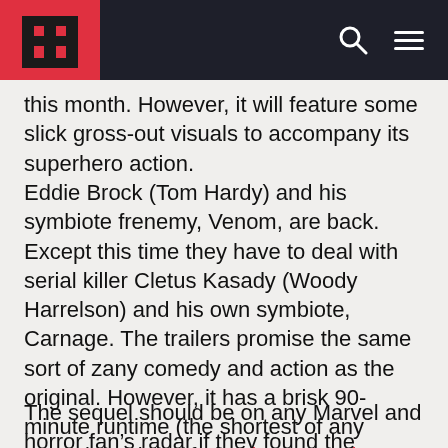[Logo] [Search] [Menu]
this month. However, it will feature some slick gross-out visuals to accompany its superhero action.
Eddie Brock (Tom Hardy) and his symbiote frenemy, Venom, are back. Except this time they have to deal with serial killer Cletus Kasady (Woody Harrelson) and his own symbiote, Carnage. The trailers promise the same sort of zany comedy and action as the original. However, it has a brisk 90-minute runtime (the shortest of any Marvel movie so far). Director Andy Serkis says this is to make it more of a “thrill ride”.
The sequel should be on any Marvel and horror fan’s radar if they found the action-comedy and slimy